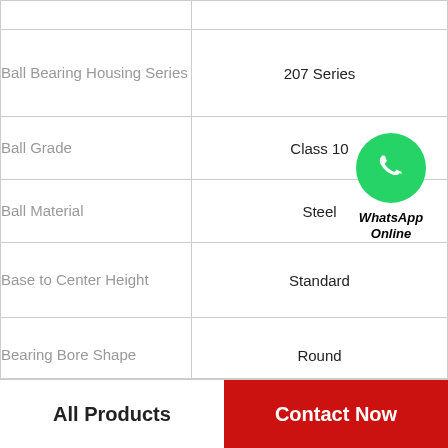| Property | Value |
| --- | --- |
| Ball Bearing Housing Series | 207 Series |
| Ball Grade | Class 10 |
| Ball Material | Steel |
| Base to Center Height | Standard |
| Bearing Bore Shape | Round |
| Bearing Inner Ring Material | Steel |
| Bearing Insert Material | Steel |
[Figure (logo): WhatsApp green circle logo with phone icon and text 'WhatsApp Online']
All Products
Contact Now